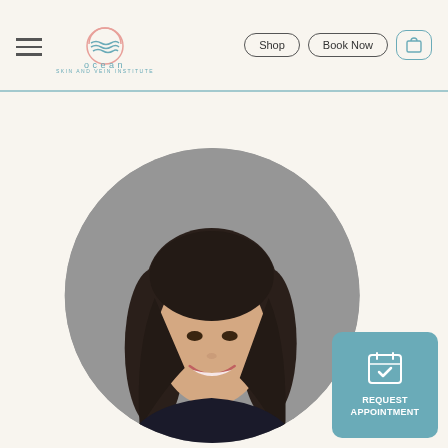[Figure (logo): Ocean Skin and Vein Institute logo — circular wave/sun design above the text 'ocean' with 'SKIN AND VEIN INSTITUTE' below]
Shop
Book Now
[Figure (photo): Headshot of a smiling woman with dark hair, displayed in a circular crop against a gray background]
REQUEST APPOINTMENT